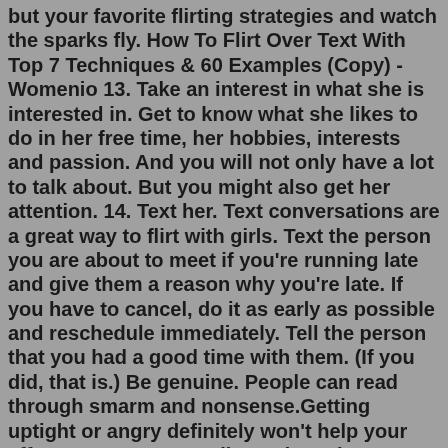but your favorite flirting strategies and watch the sparks fly. How To Flirt Over Text With Top 7 Techniques & 60 Examples (Copy) - Womenio 13. Take an interest in what she is interested in. Get to know what she likes to do in her free time, her hobbies, interests and passion. And you will not only have a lot to talk about. But you might also get her attention. 14. Text her. Text conversations are a great way to flirt with girls. Text the person you are about to meet if you're running late and give them a reason why you're late. If you have to cancel, do it as early as possible and reschedule immediately. Tell the person that you had a good time with them. (If you did, that is.) Be genuine. People can read through smarm and nonsense.Getting uptight or angry definitely won't help your efforts. 2. Be super-polite and cautious. Forget the words "aggressive", "rude" and "loud-mouthed" - they are beyond a Libra woman compatibility. Most girls born under the sign of Libra can't stand arguments and are scared off by men's uncontrolled outbursts.The fact is that a lot of guys